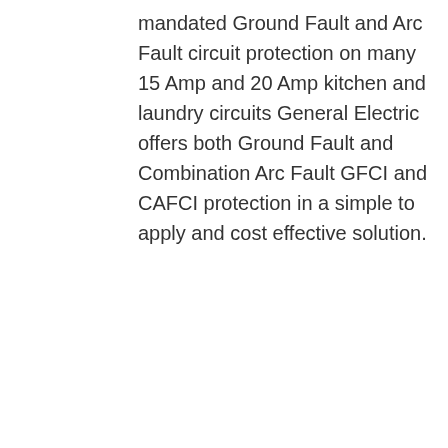mandated Ground Fault and Arc Fault circuit protection on many 15 Amp and 20 Amp kitchen and laundry circuits General Electric offers both Ground Fault and Combination Arc Fault GFCI and CAFCI protection in a simple to apply and cost effective solution.
Chat Online
[Figure (photo): Collage of four images showing industrial granulator machine components]
Granulator LMNeue Herbold
The NEUE HERBOLD granulator LM line is especially suitable for shredding bulky plastic waste with thin to medium wall thickness They are robust and low noise machines designed for medium